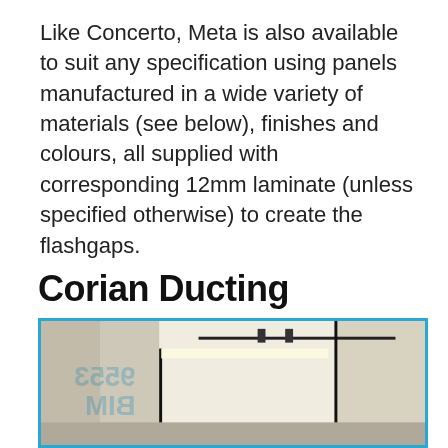Like Concerto, Meta is also available to suit any specification using panels manufactured in a wide variety of materials (see below), finishes and colours, all supplied with corresponding 12mm laminate (unless specified otherwise) to create the flashgaps.
Corian Ducting
[Figure (photo): Interior photograph showing a modern room with white corian ducting panels on the ceiling and walls, with a narrow light gap (flashgap) detail, track lighting rail visible on ceiling, and reflective floor. A watermark with reversed text is partially visible on the left side.]